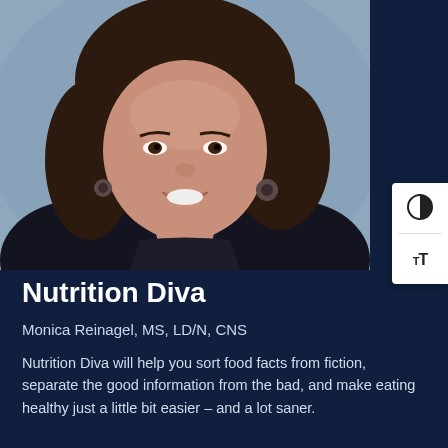[Figure (photo): Headshot portrait of a smiling woman with shoulder-length brown hair, wearing dark clothing and drop earrings, against a blurred gray outdoor background.]
Nutrition Diva
Monica Reinagel, MS, LD/N, CNS
Nutrition Diva will help you sort food facts from fiction, separate the good information from the bad, and make eating healthy just a little bit easier – and a lot saner.